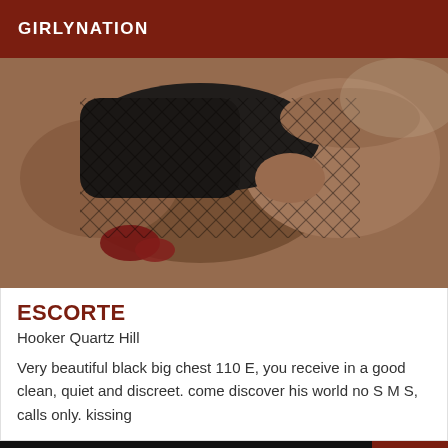GIRLYNATION
[Figure (photo): A person lying down wearing a black fishnet top, with a red accessory visible in the lower left corner. The image is a torso/body shot from above.]
ESCORTE
Hooker Quartz Hill
Very beautiful black big chest 110 E, you receive in a good clean, quiet and discreet. come discover his world no S M S, calls only. kissing
Online